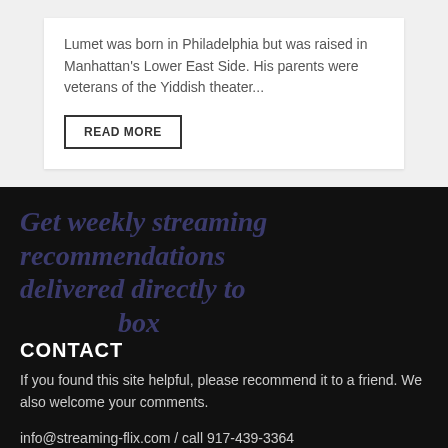Lumet was born in Philadelphia but was raised in Manhattan's Lower East Side. His parents were veterans of the Yiddish theater...
READ MORE
Get weekly streaming recommendations delivered directly to your inbox
CONTACT
If you found this site helpful, please recommend it to a friend. We also welcome your comments.
info@streaming-flix.com / call 917-439-3364
P.O. Box 20038